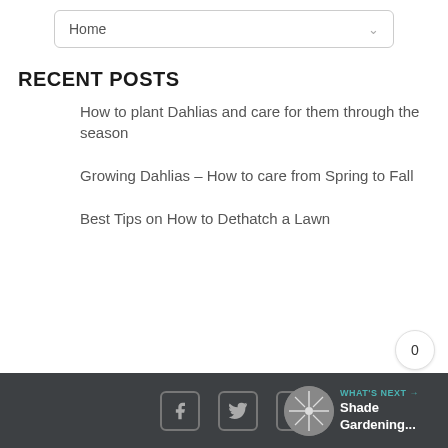Home
RECENT POSTS
How to plant Dahlias and care for them through the season
Growing Dahlias – How to care from Spring to Fall
Best Tips on How to Dethatch a Lawn
WHAT'S NEXT → Shade Gardening...